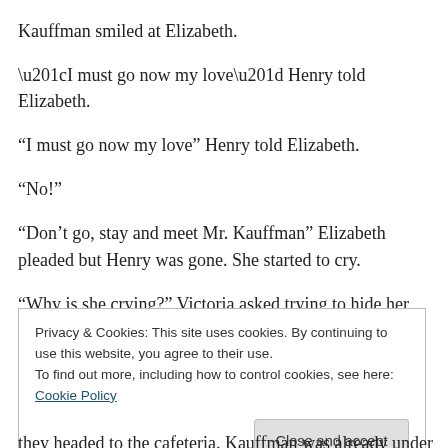Kauffman smiled at Elizabeth.
“I must go now my love” Henry told Elizabeth.
“No!”
“Don’t go, stay and meet Mr. Kauffman” Elizabeth pleaded but Henry was gone. She started to cry.
“Why is she crying?” Victoria asked trying to hide her amusement. Elizabeth looked back to where Kauffman and Victoria stared at her from her room door and when
Privacy & Cookies: This site uses cookies. By continuing to use this website, you agree to their use.
To find out more, including how to control cookies, see here: Cookie Policy
they headed to the cafeteria. Kauffman was already under